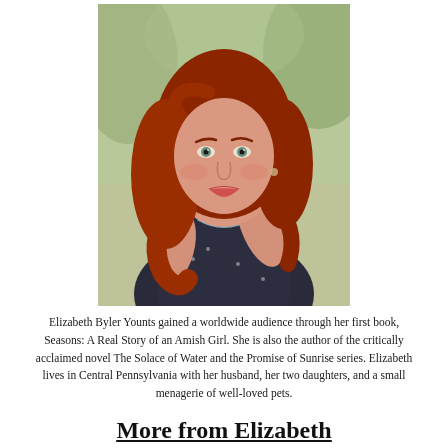[Figure (photo): Portrait photo of Elizabeth Byler Younts, a woman with long red wavy hair, wearing a dark polka-dot dress, seated outdoors with greenery in the background.]
Elizabeth Byler Younts gained a worldwide audience through her first book, Seasons: A Real Story of an Amish Girl. She is also the author of the critically acclaimed novel The Solace of Water and the Promise of Sunrise series. Elizabeth lives in Central Pennsylvania with her husband, her two daughters, and a small menagerie of well-loved pets.
More from Elizabeth